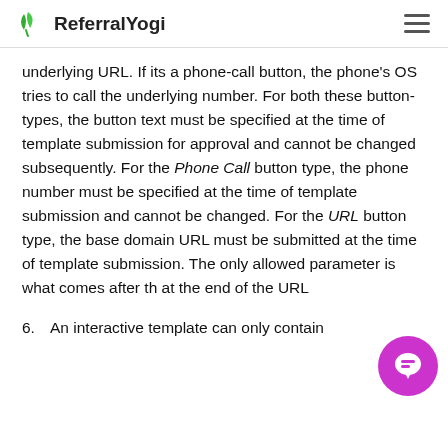ReferralYogi
underlying URL. If its a phone-call button, the phone's OS tries to call the underlying number. For both these button-types, the button text must be specified at the time of template submission for approval and cannot be changed subsequently. For the Phone Call button type, the phone number must be specified at the time of template submission and cannot be changed. For the URL button type, the base domain URL must be submitted at the time of template submission. The only allowed parameter is what comes after th at the end of the URL
6.  An interactive template can only contain